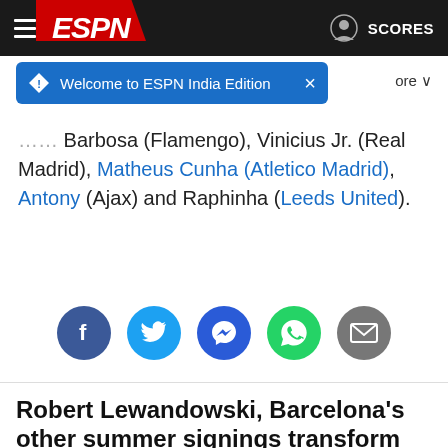ESPN — Welcome to ESPN India Edition | SCORES
…Neymar (PSG), Gabriel Jesus (Manchester City), Gabriel Barbosa (Flamengo), Vinicius Jr. (Real Madrid), Matheus Cunha (Atletico Madrid), Antony (Ajax) and Raphinha (Leeds United).
[Figure (infographic): Social share icons: Facebook (blue circle), Twitter (light blue circle), Messenger (dark blue circle), WhatsApp (green circle), Email (grey circle)]
Robert Lewandowski, Barcelona's other summer signings transform Camp Nou in win over Valladolid
[Figure (photo): Bottom strip showing crowd photo at Camp Nou]